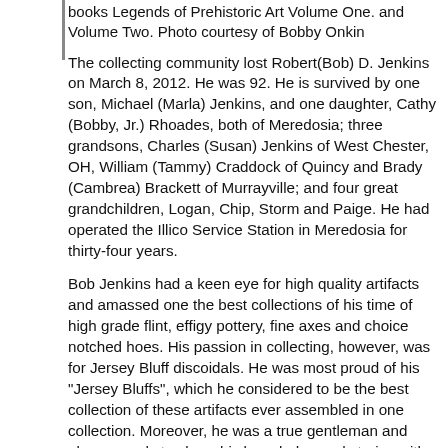books Legends of Prehistoric Art Volume One. and Volume Two. Photo courtesy of Bobby Onkin
The collecting community lost Robert(Bob) D. Jenkins on March 8, 2012. He was 92. He is survived by one son, Michael (Marla) Jenkins, and one daughter, Cathy (Bobby, Jr.) Rhoades, both of Meredosia; three grandsons, Charles (Susan) Jenkins of West Chester, OH, William (Tammy) Craddock of Quincy and Brady (Cambrea) Brackett of Murrayville; and four great grandchildren, Logan, Chip, Storm and Paige. He had operated the Illico Service Station in Meredosia for thirty-four years.
Bob Jenkins had a keen eye for high quality artifacts and amassed one the best collections of his time of high grade flint, effigy pottery, fine axes and choice notched hoes. His passion in collecting, however, was for Jersey Bluff discoidals. He was most proud of his "Jersey Bluffs", which he considered to be the best collection of these artifacts ever assembled in one collection. Moreover, he was a true gentleman and always ready to share his knowledge and stories with new collectors. I am honored that he was one of my collector mentors.
Bob's interest in archaeology began at an early age